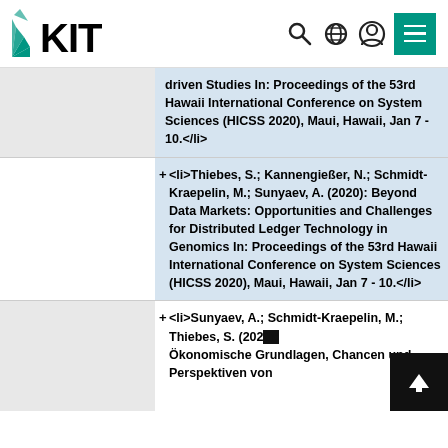[Figure (screenshot): KIT website header with logo, search icon, globe icon, user icon, and green menu button]
driven Studies In: Proceedings of the 53rd Hawaii International Conference on System Sciences (HICSS 2020), Maui, Hawaii, Jan 7 - 10.</li>
<li>Thiebes, S.; Kannengießer, N.; Schmidt-Kraepelin, M.; Sunyaev, A. (2020): Beyond Data Markets: Opportunities and Challenges for Distributed Ledger Technology in Genomics In: Proceedings of the 53rd Hawaii International Conference on System Sciences (HICSS 2020), Maui, Hawaii, Jan 7 - 10.</li>
<li>Sunyaev, A.; Schmidt-Kraepelin, M.; Thiebes, S. (202... Ökonomische Grundlagen, Chancen und Perspektiven von